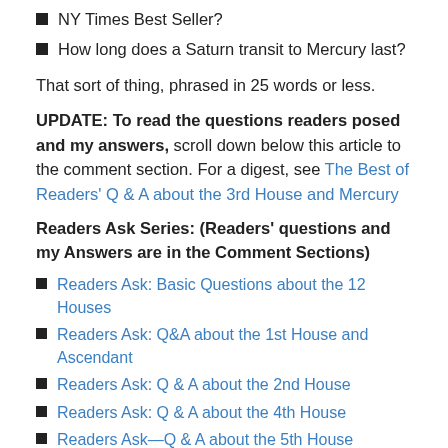NY Times Best Seller?
How long does a Saturn transit to Mercury last?
That sort of thing, phrased in 25 words or less.
UPDATE:  To  read the questions readers posed and my answers,  scroll down below this article to the comment section.  For a digest, see The Best of Readers' Q & A about the 3rd House and Mercury
Readers Ask Series:  (Readers' questions and my Answers are in the Comment Sections)
Readers Ask: Basic Questions about the 12 Houses
Readers Ask: Q&A about the 1st House and Ascendant
Readers Ask: Q & A about the 2nd House
Readers Ask: Q & A about the 4th House
Readers Ask—Q & A about the 5th House